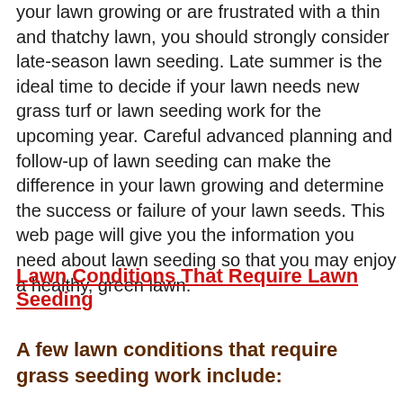your lawn growing or are frustrated with a thin and thatchy lawn, you should strongly consider late-season lawn seeding. Late summer is the ideal time to decide if your lawn needs new grass turf or lawn seeding work for the upcoming year. Careful advanced planning and follow-up of lawn seeding can make the difference in your lawn growing and determine the success or failure of your lawn seeds. This web page will give you the information you need about lawn seeding so that you may enjoy a healthy, green lawn.
Lawn Conditions That Require Lawn Seeding
A few lawn conditions that require grass seeding work include: